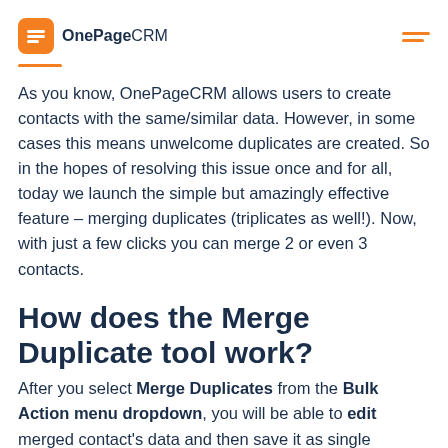OnePageCRM
As you know, OnePageCRM allows users to create contacts with the same/similar data. However, in some cases this means unwelcome duplicates are created. So in the hopes of resolving this issue once and for all, today we launch the simple but amazingly effective feature – merging duplicates (triplicates as well!). Now, with just a few clicks you can merge 2 or even 3 contacts.
How does the Merge Duplicate tool work?
After you select Merge Duplicates from the Bulk Action menu dropdown, you will be able to edit merged contact's data and then save it as single